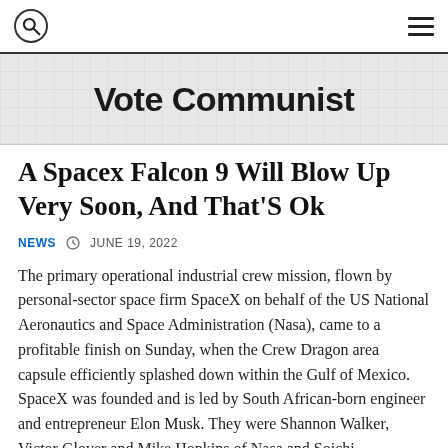Vote Communist
A Spacex Falcon 9 Will Blow Up Very Soon, And That'S Ok
NEWS   JUNE 19, 2022
The primary operational industrial crew mission, flown by personal-sector space firm SpaceX on behalf of the US National Aeronautics and Space Administration (Nasa), came to a profitable finish on Sunday, when the Crew Dragon area capsule efficiently splashed down within the Gulf of Mexico. SpaceX was founded and is led by South African-born engineer and entrepreneur Elon Musk. They were Shannon Walker, Victor Glover and Mike Hopkins of Nasa and Soichi